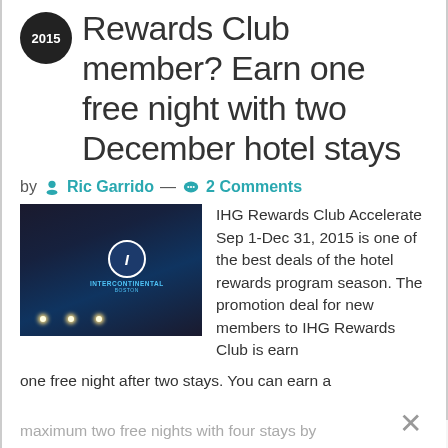Rewards Club member? Earn one free night with two December hotel stays
by Ric Garrido — 2 Comments
[Figure (photo): Nighttime photo of InterContinental Boston hotel exterior with illuminated signage]
IHG Rewards Club Accelerate Sep 1-Dec 31, 2015 is one of the best deals of the hotel rewards program season. The promotion deal for new members to IHG Rewards Club is earn one free night after two stays. You can earn a maximum two free nights with four stays by